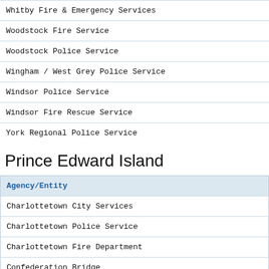| Agency/Entity |
| --- |
| Whitby Fire & Emergency Services |
| Woodstock Fire Service |
| Woodstock Police Service |
| Wingham / West Grey Police Service |
| Windsor Police Service |
| Windsor Fire Rescue Service |
| York Regional Police Service |
Prince Edward Island
| Agency/Entity |
| --- |
| Charlottetown City Services |
| Charlottetown Police Service |
| Charlottetown Fire Department |
| Confederation Bridge |
| RCMP L Division |
| Summerside Police Service |
| Kensington Police Service |
| Island Emergency Medical Services |
| Prince Edward Island Provincial Fire Marshall's Office |